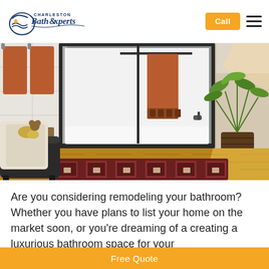Charleston Bath Experts | Call | Menu
[Figure (photo): Bathroom interior with a white bathtub/shower enclosure with sliding glass doors, orange/rust towels hanging on a towel bar, a dark leather stool with a cream blanket and sponge, a wooden floor with a patterned rug, and a green tropical plant in a wicker planter on the right.]
Are you considering remodeling your bathroom? Whether you have plans to list your home on the market soon, or you're dreaming of a creating a luxurious bathroom space for your
Free Quote